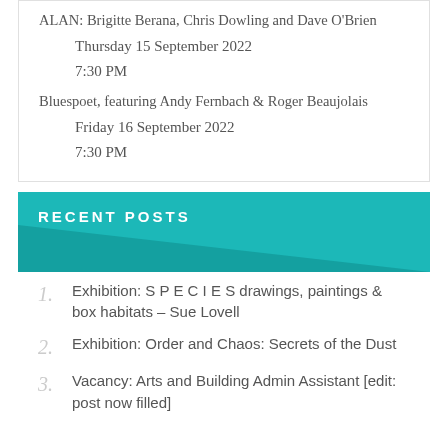ALAN: Brigitte Berana, Chris Dowling and Dave O'Brien
Thursday 15 September 2022
7:30 PM
Bluespoet, featuring Andy Fernbach & Roger Beaujolais
Friday 16 September 2022
7:30 PM
RECENT POSTS
Exhibition: S P E C I E S drawings, paintings & box habitats – Sue Lovell
Exhibition: Order and Chaos: Secrets of the Dust
Vacancy: Arts and Building Admin Assistant [edit: post now filled]